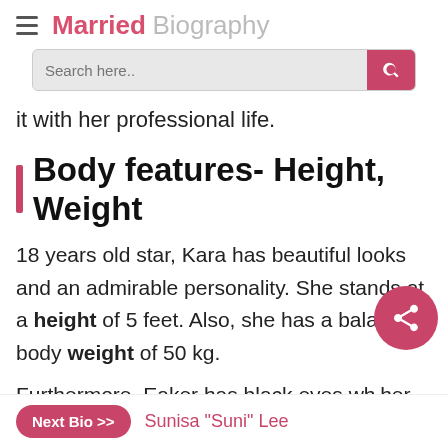Married Biography
it with her professional life.
Body features- Height, Weight
18 years old star, Kara has beautiful looks and an admirable personality. She stands at a height of 5 feet. Also, she has a balanced body weight of 50 kg.
Furthermore, Eaker has black eyes wh... her hair is also black. Her body
Next Bio >> Sunisa "Suni" Lee